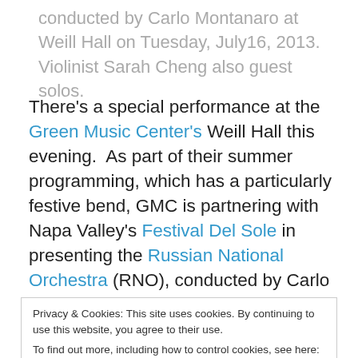conducted by Carlo Montanaro at Weill Hall on Tuesday, July16, 2013. Violinist Sarah Cheng also guest solos.
There's a special performance at the Green Music Center's Weill Hall this evening.  As part of their summer programming, which has a particularly festive bend, GMC is partnering with Napa Valley's Festival Del Sole in presenting the Russian National Orchestra (RNO), conducted by Carlo Montanaro, with renowned violinist Sarah Chang performing Samuel Barber's popular Violin Concerto, and sensational pianist Jean-Yves Thibaudet in
Privacy & Cookies: This site uses cookies. By continuing to use this website, you agree to their use.
To find out more, including how to control cookies, see here: Cookie Policy
closes at 4 p.m. and then re-opens at 5:30 p.m.